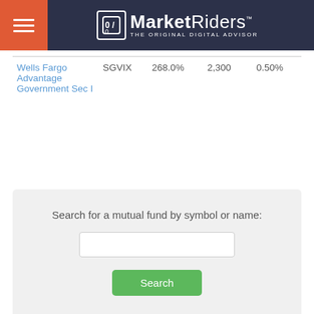[Figure (logo): MarketRiders logo with hamburger menu on orange background and dark navy header bar. Text: MarketRiders THE ORIGINAL DIGITAL ADVISOR]
| Wells Fargo Advantage Government Sec I | SGVIX | 268.0% | 2,300 | 0.50% |
Search for a mutual fund by symbol or name: